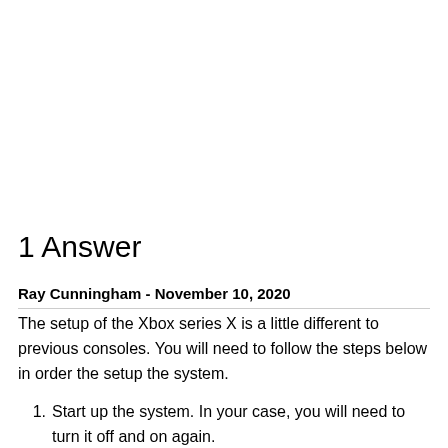1 Answer
Ray Cunningham - November 10, 2020
The setup of the Xbox series X is a little different to previous consoles. You will need to follow the steps below in order the setup the system.
Start up the system. In your case, you will need to turn it off and on again.